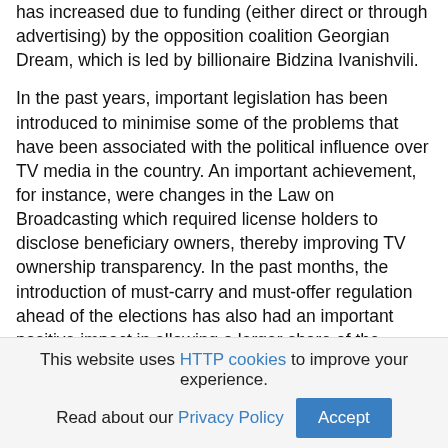has increased due to funding (either direct or through advertising) by the opposition coalition Georgian Dream, which is led by billionaire Bidzina Ivanishvili.
In the past years, important legislation has been introduced to minimise some of the problems that have been associated with the political influence over TV media in the country. An important achievement, for instance, were changes in the Law on Broadcasting which required license holders to disclose beneficiary owners, thereby improving TV ownership transparency. In the past months, the introduction of must-carry and must-offer regulation ahead of the elections has also had an important positive impact in allowing a larger share of the population to access TV stations with news coverage that is critical of the government. The law in principle “requires that service providers must carry certain TV channels with public value content (e.g. channels of the public broadcaster, local
This website uses HTTP cookies to improve your experience. Read about our Privacy Policy [Accept]